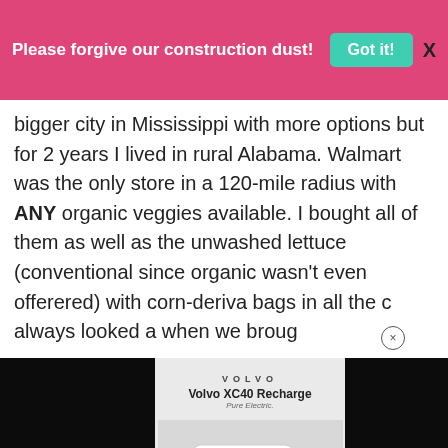Please forgive our construction dust!  Got it!  X
bigger city in Mississippi with more options but for 2 years I lived in rural Alabama. Walmart was the only store in a 120-mile radius with ANY organic veggies available. I bought all of them as well as the unwashed lettuce (conventional since organic wasn't even offerered) with corn-deriva bags in all the d always looked a when we broug (full of produce and that's all) and frequently had to ask me what some of those foreign
[Figure (screenshot): Advertisement overlay showing Volvo XC40 Recharge Pure Electric car ad with black side panels and a white SUV displayed on light gray background with colour selector dots and order button.]